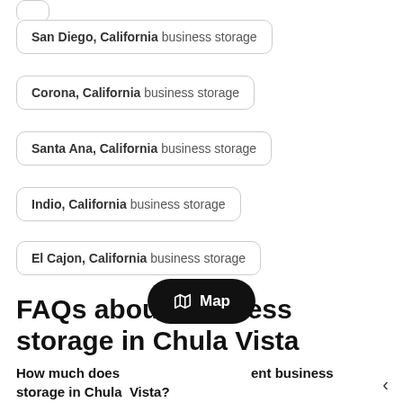San Diego, California business storage
Corona, California business storage
Santa Ana, California business storage
Indio, California business storage
El Cajon, California business storage
FAQs about business storage in Chula Vista
How much does it cost to rent business storage in Chula Vista?
[Figure (other): Map button overlay UI element showing a map icon and the text 'Map' on a dark rounded-rectangle button]